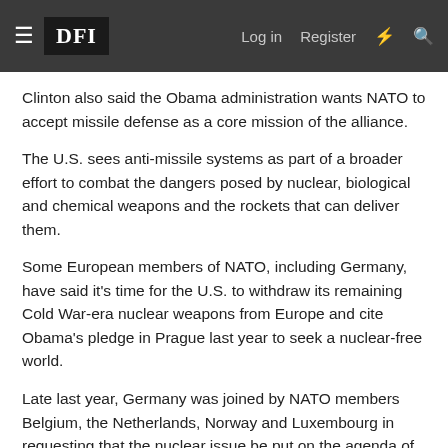DFI | Log in | Register
Clinton also said the Obama administration wants NATO to accept missile defense as a core mission of the alliance.
The U.S. sees anti-missile systems as part of a broader effort to combat the dangers posed by nuclear, biological and chemical weapons and the rockets that can deliver them.
Some European members of NATO, including Germany, have said it's time for the U.S. to withdraw its remaining Cold War-era nuclear weapons from Europe and cite Obama's pledge in Prague last year to seek a nuclear-free world.
Late last year, Germany was joined by NATO members Belgium, the Netherlands, Norway and Luxembourg in requesting that the nuclear issue be put on the agenda of the Tallinn meeting.
But some newer NATO members in central and eastern Europe, which lay within Moscow's orbit during the Cold War, oppose a